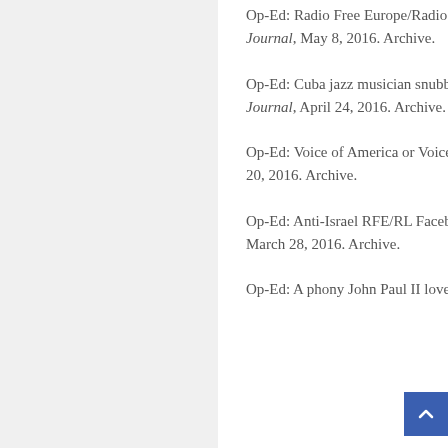Op-Ed: Radio Free Europe/Radio Liberty can't cope with Putin propaganda, Digital Journal, May 8, 2016. Archive.
Op-Ed: Cuba jazz musician snubbed by White House and Voice of America, Digital Journal, April 24, 2016. Archive.
Op-Ed: Voice of America or Voice of Castro without any balance?, Digital Journal, April 20, 2016. Archive.
Op-Ed: Anti-Israel RFE/RL Facebook message may inspire terrorists, Digital Journal, March 28, 2016. Archive.
Op-Ed: A phony John Paul II love story distorted his real persona,